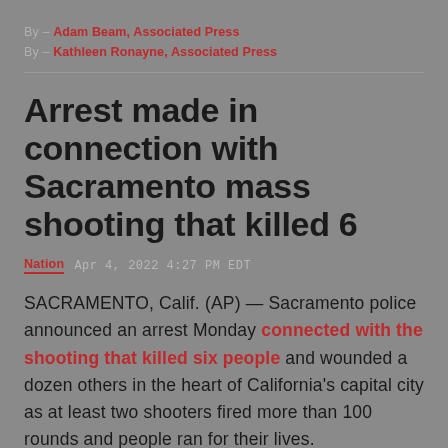By – Adam Beam, Associated Press
By – Kathleen Ronayne, Associated Press
Arrest made in connection with Sacramento mass shooting that killed 6
Nation  Apr 4, 2022  4:27 PM EDT
SACRAMENTO, Calif. (AP) — Sacramento police announced an arrest Monday connected with the shooting that killed six people and wounded a dozen others in the heart of California's capital city as at least two shooters fired more than 100 rounds and people ran for their lives.